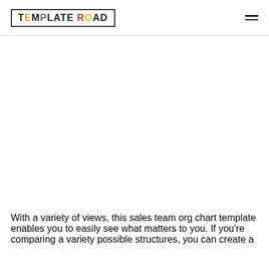TEMPLATE ROAD
[Figure (other): Empty white content area, presumably where an org chart image would be displayed]
With a variety of views, this sales team org chart template enables you to easily see what matters to you. If you're comparing a variety possible structures, you can create a